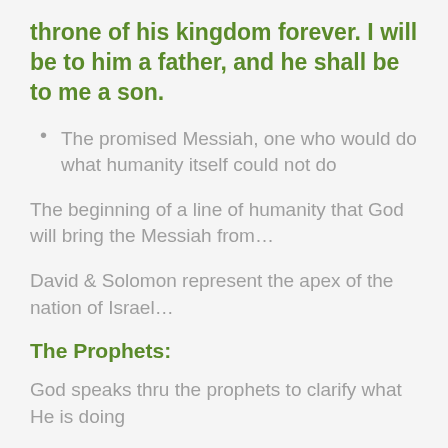throne of his kingdom forever. I will be to him a father, and he shall be to me a son.
The promised Messiah, one who would do what humanity itself could not do
The beginning of a line of humanity that God will bring the Messiah from…
David & Solomon represent the apex of the nation of Israel…
The Prophets:
God speaks thru the prophets to clarify what He is doing
They review and preview all redemptive History: (Sin / Judgement / Redemption)